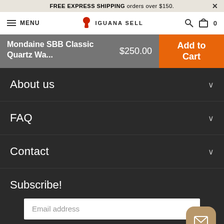FREE EXPRESS SHIPPING orders over $150.
MENU | IGUANA SELL
Mondaine SBB Classic Quartz Wa... $250.00 Add to Cart
About us
FAQ
Contact
Subscribe!
Email address
SUBSCRIBE
Rewards